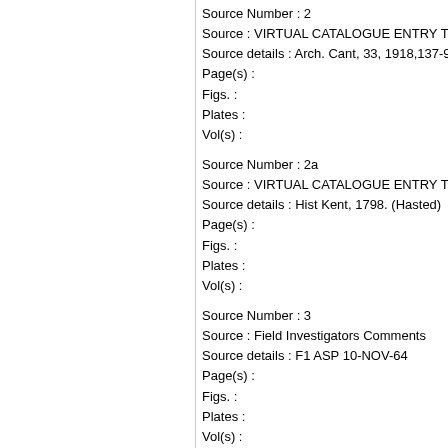Source Number : 2
Source : VIRTUAL CATALOGUE ENTRY TO SUP
Source details : Arch. Cant, 33, 1918,137-9
Page(s) :
Figs. :
Plates :
Vol(s) :
Source Number : 2a
Source : VIRTUAL CATALOGUE ENTRY TO SUP
Source details : Hist Kent, 1798. (Hasted)
Page(s) :
Figs. :
Plates :
Vol(s) :
Source Number : 3
Source : Field Investigators Comments
Source details : F1 ASP 10-NOV-64
Page(s) :
Figs. :
Plates :
Vol(s) :
Monument Types:
Monument Period Name : Medieval
Display Date :
Monument End Date : 1337
Monument Start Date : 1200
Monument Type : Manor House
Evidence :
Monument Period Name : Post Medieval